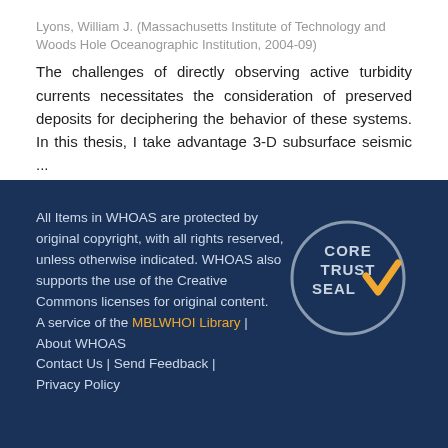Lyons, William J. (Massachusetts Institute of Technology and Woods Hole Oceanographic Institution, 2004-09)
The challenges of directly observing active turbidity currents necessitates the consideration of preserved deposits for deciphering the behavior of these systems. In this thesis, I take advantage 3-D subsurface seismic ...
All Items in WHOAS are protected by original copyright, with all rights reserved, unless otherwise indicated. WHOAS also supports the use of the Creative Commons licenses for original content. A service of the MBLWHOI Library | About WHOAS Contact Us | Send Feedback | Privacy Policy
[Figure (logo): CoreTrustSeal logo: circular grey border with text CORE TRUST SEAL and an orange checkmark]